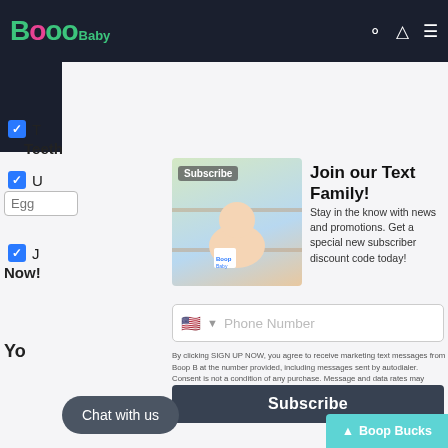Boop Baby
[Figure (screenshot): Baby sitting with Boop Baby bag, Subscribe overlay image]
Join our Text Family!
Stay in the know with news and promotions. Get a special new subscriber discount code today!
T (checkbox checked)
Teeth
U (checkbox checked)
Egg (input field)
J (checkbox checked)
Now!
Phone Number (input field)
By clicking SIGN UP NOW, you agree to receive marketing text messages from Boop B at the number provided, including messages sent by autodialer. Consent is not a condition of any purchase. Message and data rates may apply. Message frequency w Reply HELP for help or STOP to cancel. View our Privacy Policy and Terms of Service.
Subscribe
Chat with us
You
Boop Bucks